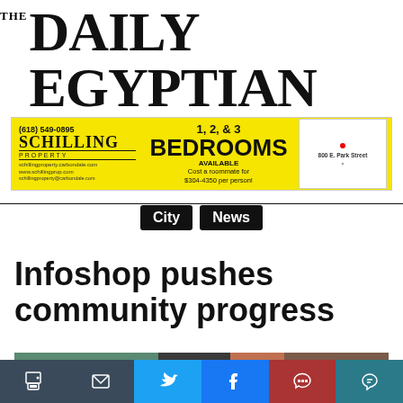[Figure (logo): The Daily Egyptian newspaper logo with 'THE' small text, large masthead reading 'DAILY EGYPTIAN', and a dark red graphic icon in top-right corner]
Serving the Southern Illinois University community since 1916.
[Figure (infographic): Yellow advertisement banner for Schilling Property, advertising 1, 2, & 3 Bedrooms Available. Phone: (618) 549-0895. Cost a roommate for $304-4350 per person. 800 E. Park Street.]
City  News
Infoshop pushes community progress
[Figure (photo): Partial photo of what appears to be a green bulletin board or display with stickers and signage, partially visible at bottom of page]
Toolbar with print, email, Twitter, Facebook, like, and comment icons